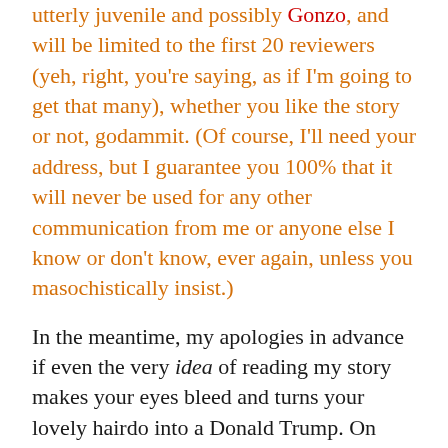utterly juvenile and possibly Gonzo, and will be limited to the first 20 reviewers (yeh, right, you're saying, as if I'm going to get that many), whether you like the story or not, godammit. (Of course, I'll need your address, but I guarantee you 100% that it will never be used for any other communication from me or anyone else I know or don't know, ever again, unless you masochistically insist.)
In the meantime, my apologies in advance if even the very idea of reading my story makes your eyes bleed and turns your lovely hairdo into a Donald Trump. On with the show.